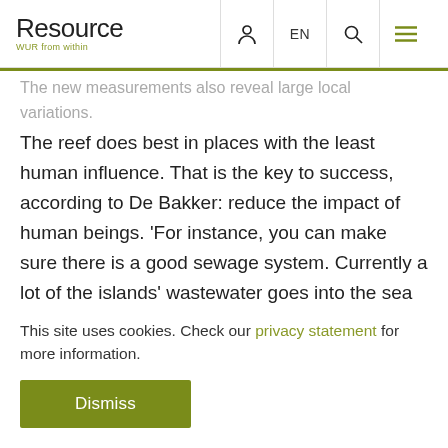Resource — WUR from within
The new measurements also reveal large local variations.
The reef does best in places with the least human influence. That is the key to success, according to De Bakker: reduce the impact of human beings. 'For instance, you can make sure there is a good sewage system. Currently a lot of the islands' wastewater goes into the sea untreated. Sediment also flows from the land into the sea. By planting mangrove
This site uses cookies. Check our privacy statement for more information.
Dismiss